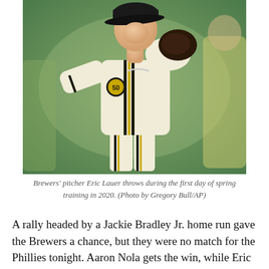[Figure (photo): Milwaukee Brewers pitcher Eric Lauer in white and gold uniform with '50' anniversary patch, winding up to throw during spring training 2020. Green blurred background.]
Brewers' pitcher Eric Lauer throws during the first day of spring training in 2020. (Photo by Gregory Bull/AP)
A rally headed by a Jackie Bradley Jr. home run gave the Brewers a chance, but they were no match for the Phillies tonight. Aaron Nola gets the win, while Eric Lauer falls to 1-1 on the season.